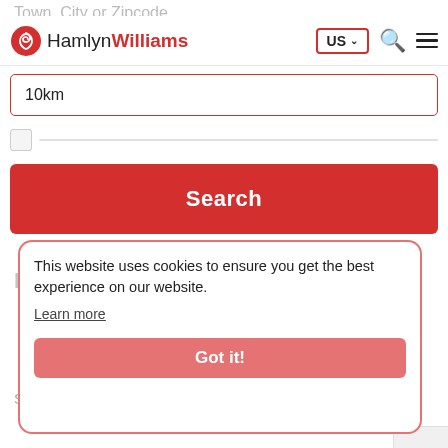Town, City or Zipcode
[Figure (logo): HamlynWilliams logo with red spiral icon and text. Nav bar with US country selector dropdown, search icon, and hamburger menu.]
10km
Search
Filter by +
This website uses cookies to ensure you get the best experience on our website.
Learn more
Got it!
Sort by  Most Rece...